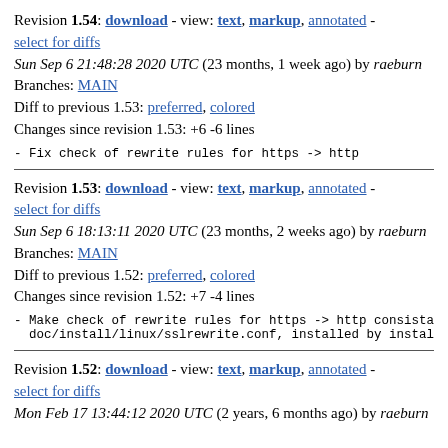Revision 1.54: download - view: text, markup, annotated - select for diffs
Sun Sep 6 21:48:28 2020 UTC (23 months, 1 week ago) by raeburn
Branches: MAIN
Diff to previous 1.53: preferred, colored
Changes since revision 1.53: +6 -6 lines
- Fix check of rewrite rules for https -> http
Revision 1.53: download - view: text, markup, annotated - select for diffs
Sun Sep 6 18:13:11 2020 UTC (23 months, 2 weeks ago) by raeburn
Branches: MAIN
Diff to previous 1.52: preferred, colored
Changes since revision 1.52: +7 -4 lines
- Make check of rewrite rules for https -> http consistant
  doc/install/linux/sslrewrite.conf, installed by install
Revision 1.52: download - view: text, markup, annotated - select for diffs
Mon Feb 17 13:44:12 2020 UTC (2 years, 6 months ago) by raeburn